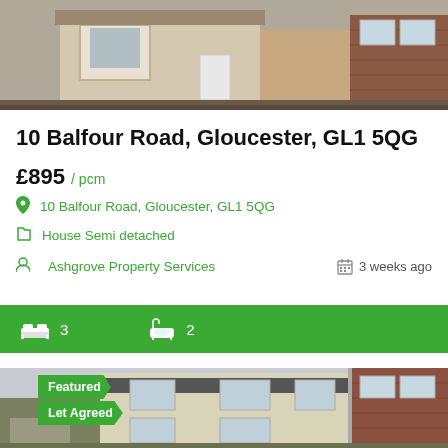[Figure (photo): Exterior photo of a semi-detached brick house with bay window at top of listing]
10 Balfour Road, Gloucester, GL1 5QG
£895 / pcm
10 Balfour Road, Gloucester, GL1 5QG
House Semi detached
Ashgrove Property Services    3 weeks ago
3 bedrooms, 2 bathrooms
[Figure (photo): Exterior photo of a semi-detached cream/beige rendered house with Featured and Let Agreed badges]